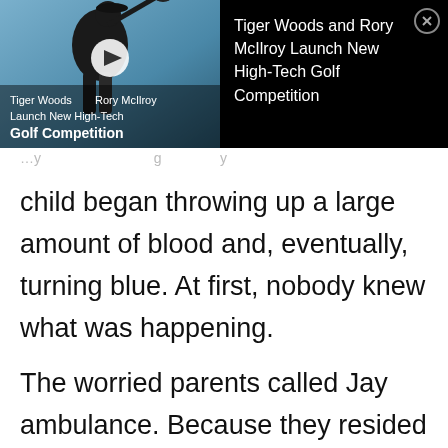[Figure (screenshot): Video advertisement banner for 'Tiger Woods and Rory McIlroy Launch New High-Tech Golf Competition'. Left side shows a video thumbnail of a golfer swinging with a play button overlay and text overlay. Right side shows black background with white text of the headline and an X close button.]
child began throwing up a large amount of blood and, eventually, turning blue. At first, nobody knew what was happening.
The worried parents called Jay ambulance. Because they resided in a rural region in Delaware County in Oklahoma, and their daughter was in critical condition, they met